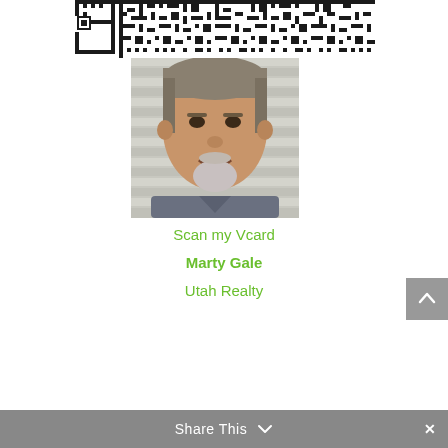[Figure (other): QR code for scanning a vCard]
[Figure (photo): Headshot of a middle-aged man with grey hair and a goatee, smiling, wearing a plaid shirt, with window blinds in the background]
Scan my Vcard
Marty Gale
Utah Realty
Share This ∨  ✕